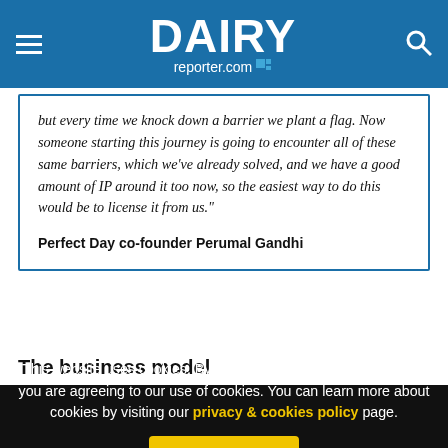DAIRY reporter.com
but every time we knock down a barrier we plant a flag. Now someone starting this journey is going to encounter all of these same barriers, which we've already solved, and we have a good amount of IP around it too now, so the easiest way to do this would be to license it from us."
Perfect Day co-founder Perumal Gandhi
The business model
This website uses cookies. By continuing to browse our website, you are agreeing to our use of cookies. You can learn more about cookies by visiting our privacy & cookies policy page.
I Agree